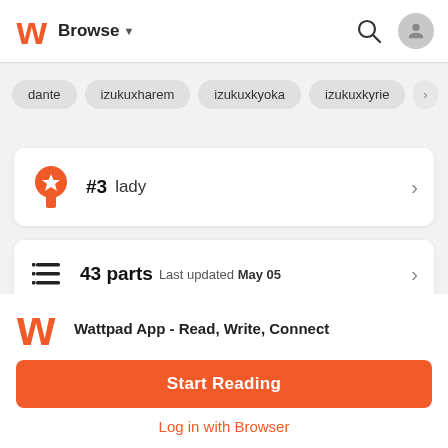Browse
dante
izukuxharem
izukuxkyoka
izukuxkyrie
#3 lady
43 parts Last updated May 05
Wattpad App - Read, Write, Connect
Start Reading
Log in with Browser